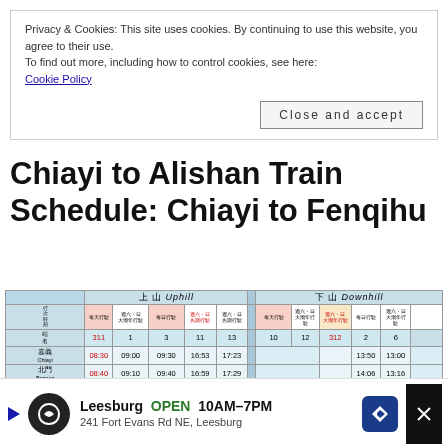Privacy & Cookies: This site uses cookies. By continuing to use this website, you agree to their use.
To find out more, including how to control cookies, see here:
Cookie Policy
Close and accept
Chiayi to Alishan Train Schedule: Chiayi to Fenqihu
[Figure (table-as-image): Train schedule table showing Uphill (上山) and Downhill (下山) times for trains between Chiayi and Fenqihu stations, with train numbers 311, 1, 3, 11, 13 (uphill) and 10, 12, 312, 2, 6 (downhill). Stations listed: Chiayi/嘉義, Beimen/北門, Luma/鹿滿, Shitzulu/十字鴿, Duolin/多林, Fenqihu/奮起湖]
Leesburg OPEN 10AM–7PM 241 Fort Evans Rd NE, Leesburg